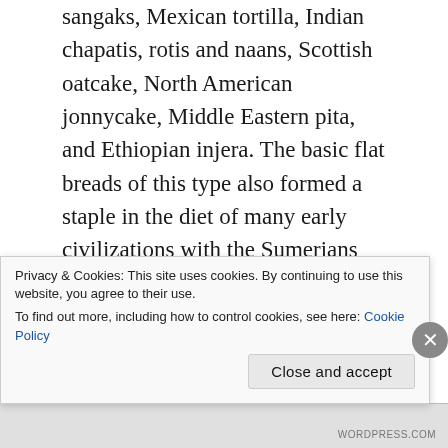sangaks, Mexican tortilla, Indian chapatis, rotis and naans, Scottish oatcake, North American jonnycake, Middle Eastern pita, and Ethiopian injera. The basic flat breads of this type also formed a staple in the diet of many early civilizations with the Sumerians eating a type of barley flat cake, and the 12th century BC Egyptians being able to purchase a flat bread called ta from stalls in the village streets. The development of leavened bread can probably also be traced to prehistoric times. Yeast spores occur everywhere, including the surface of cereal grains, so any dough
Privacy & Cookies: This site uses cookies. By continuing to use this website, you agree to their use.
To find out more, including how to control cookies, see here: Cookie Policy
Close and accept